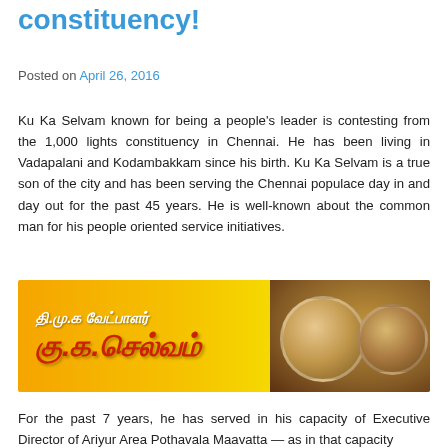constituency!
Posted on April 26, 2016
Ku Ka Selvam known for being a people's leader is contesting from the 1,000 lights constituency in Chennai. He has been living in Vadapalani and Kodambakkam since his birth. Ku Ka Selvam is a true son of the city and has been serving the Chennai populace day in and day out for the past 45 years. He is well-known about the common man for his people oriented service initiatives.
[Figure (photo): Campaign banner for DMK candidate Ku Ka Selvam showing Tamil text and photos of political leaders against a golden/orange background]
For the past 7 years, he has served in his capacity of Executive Director of Ariyur Area Pothavala Maavatta — as in that capacity